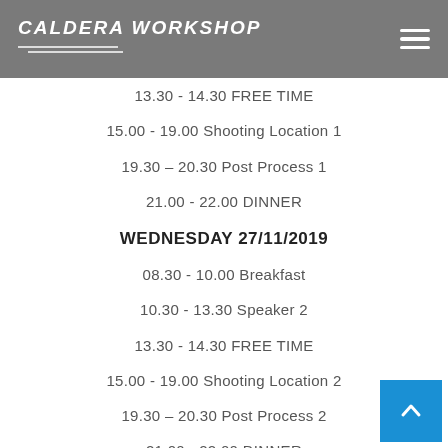CALDERA WORKSHOP
13.30 - 14.30 FREE TIME
15.00 - 19.00 Shooting Location 1
19.30 – 20.30 Post Process 1
21.00 - 22.00 DINNER
WEDNESDAY 27/11/2019
08.30 - 10.00 Breakfast
10.30 - 13.30 Speaker 2
13.30 - 14.30 FREE TIME
15.00 - 19.00 Shooting Location 2
19.30 – 20.30 Post Process 2
21.00 - 22.00 DINNER
22.30 PARTY